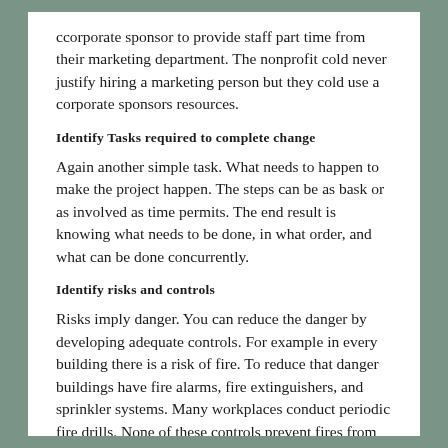ccorporate sponsor to provide staff part time from their marketing department. The nonprofit cold never justify hiring a marketing person but they cold use a corporate sponsors resources.
Identify Tasks required to complete change
Again another simple task. What needs to happen to make the project happen. The steps can be as bask or as involved as time permits. The end result is knowing what needs to be done, in what order, and what can be done concurrently.
Identify risks and controls
Risks imply danger. You can reduce the danger by developing adequate controls. For example in every building there is a risk of fire. To reduce that danger buildings have fire alarms, fire extinguishers, and sprinkler systems. Many workplaces conduct periodic fire drills. None of these controls prevent fires from occurring, but